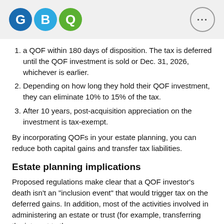[Figure (logo): GBQ logo with three colored circles containing letters G, B, Q]
a QOF within 180 days of disposition. The tax is deferred until the QOF investment is sold or Dec. 31, 2026, whichever is earlier.
Depending on how long they hold their QOF investment, they can eliminate 10% to 15% of the tax.
After 10 years, post-acquisition appreciation on the investment is tax-exempt.
By incorporating QOFs in your estate planning, you can reduce both capital gains and transfer tax liabilities.
Estate planning implications
Proposed regulations make clear that a QOF investor’s death isn’t an “inclusion event” that would trigger tax on the deferred gains. In addition, most of the activities involved in administering an estate or trust (for example, transferring the interest to the